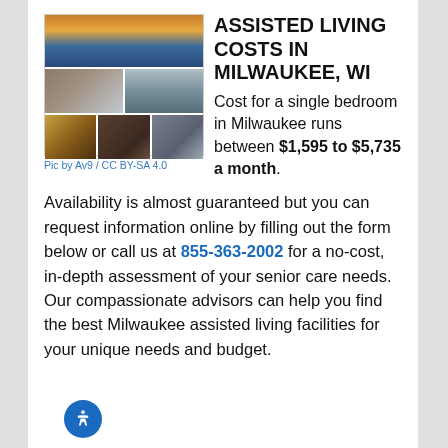[Figure (photo): Collage of Milwaukee city photos showing skyline at sunset, cathedral dome, classical buildings, and downtown streets at night]
Pic by Av9 / CC BY-SA 4.0
ASSISTED LIVING COSTS IN MILWAUKEE, WI
Cost for a single bedroom in Milwaukee runs between $1,595 to $5,735 a month.
Availability is almost guaranteed but you can request information online by filling out the form below or call us at 855-363-2002 for a no-cost, in-depth assessment of your senior care needs. Our compassionate advisors can help you find the best Milwaukee assisted living facilities for your unique needs and budget.